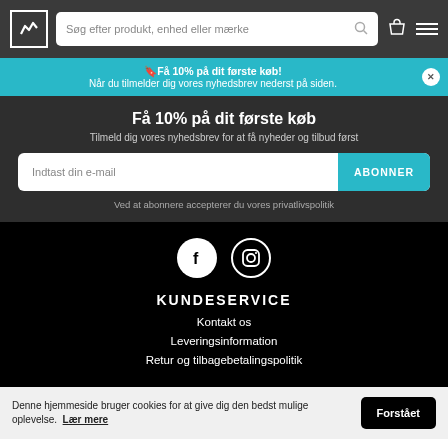Søg efter produkt, enhed eller mærke
🔖Få 10% på dit første køb! Når du tilmelder dig vores nyhedsbrev nederst på siden.
Få 10% på dit første køb
Tilmeld dig vores nyhedsbrev for at få nyheder og tilbud først
Indtast din e-mail   ABONNER
Ved at abonnere accepterer du vores privatlivspolitik
[Figure (illustration): Facebook and Instagram social media icons in white circles on black background]
KUNDESERVICE
Kontakt os
Leveringsinformation
Retur og tilbagebetalingspolitik
Denne hjemmeside bruger cookies for at give dig den bedst mulige oplevelse. Lær mere   Forstået